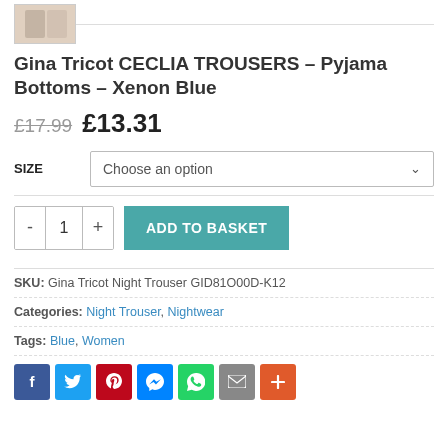[Figure (photo): Partial thumbnail image of pyjama trousers in Xenon Blue]
Gina Tricot CECLIA TROUSERS – Pyjama Bottoms – Xenon Blue
£17.99  £13.31
SIZE  Choose an option
- 1 +  ADD TO BASKET
SKU: Gina Tricot Night Trouser GID81O00D-K12
Categories: Night Trouser, Nightwear
Tags: Blue, Women
[Figure (infographic): Social sharing buttons: Facebook, Twitter, Pinterest, Messenger, WhatsApp, Email, More]